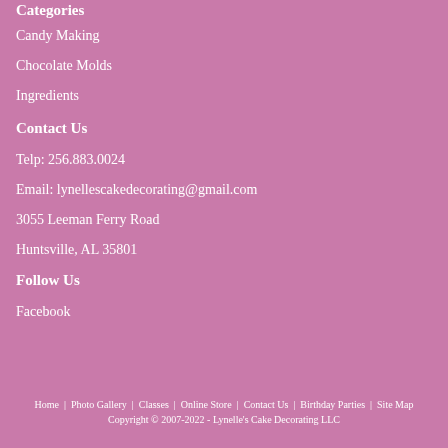Categories
Candy Making
Chocolate Molds
Ingredients
Contact Us
Telp: 256.883.0024
Email: lynellescakedecorating@gmail.com
3055 Leeman Ferry Road
Huntsville, AL 35801
Follow Us
Facebook
Home  |  Photo Gallery  |  Classes  |  Online Store  |  Contact Us  |  Birthday Parties  |  Site Map
Copyright © 2007-2022 - Lynelle's Cake Decorating LLC